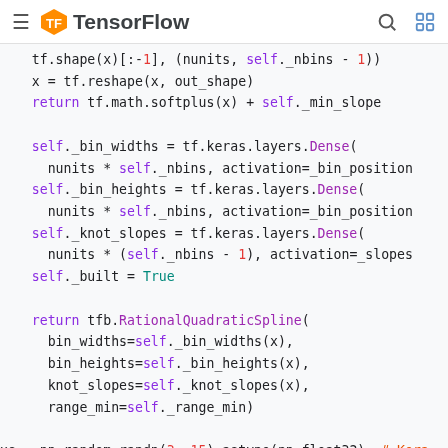TensorFlow
[Figure (screenshot): TensorFlow documentation website header with hamburger menu, TensorFlow logo, search icon, and grid icon]
Code snippet showing TensorFlow/Python code including tf.shape, tf.reshape, tf.math.softplus, self._bin_widths, self._bin_heights, self._knot_slopes tf.keras.layers.Dense calls, return tfb.RationalQuadraticSpline, and xs = np.random.randn and splines list comprehension